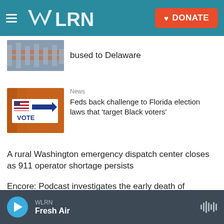WLRN | DONATE
bused to Delaware
News
Feds back challenge to Florida election laws that 'target Black voters'
A rural Washington emergency dispatch center closes as 911 operator shortage persists
Encore: Podcast investigates the early death of musician Chalino Sanchez
WLRN Fresh Air